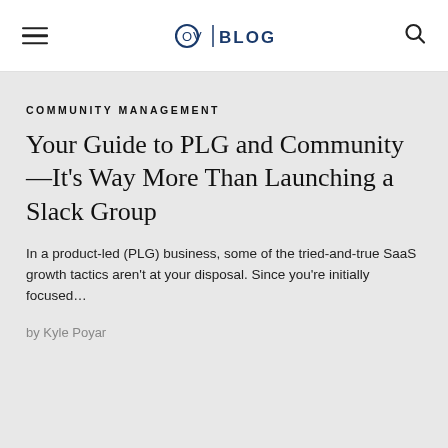OV | BLOG
COMMUNITY MANAGEMENT
Your Guide to PLG and Community—It’s Way More Than Launching a Slack Group
In a product-led (PLG) business, some of the tried-and-true SaaS growth tactics aren’t at your disposal. Since you’re initially focused…
by Kyle Poyar